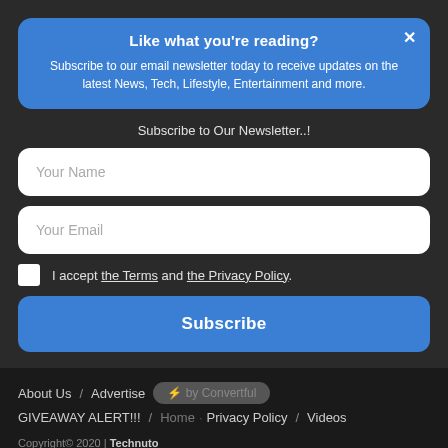Like what you're reading?
Subscribe to our email newsletter today to receive updates on the latest News, Tech, Lifestyle, Entertainment and more.
Subscribe to Our Newsletter..!
Your Name
Your Email
I accept the Terms and the Privacy Policy.
Subscribe
About Us / Advertise ⚡ by Convertful GIVEAWAY ALERT!!! / ... Privacy Policy / Videos Copyright© 2020 | Technuto
[Figure (other): Social media icons: Facebook, Twitter, Instagram, YouTube]